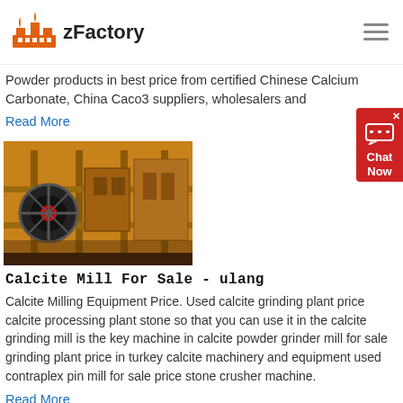zFactory
Powder products in best price from certified Chinese Calcium Carbonate, China Caco3 suppliers, wholesalers and
Read More
[Figure (photo): Industrial yellow machinery - calcite mill equipment]
Calcite Mill For Sale - ulang
Calcite Milling Equipment Price. Used calcite grinding plant price calcite processing plant stone so that you can use it in the calcite grinding mill is the key machine in calcite powder grinder mill for sale grinding plant price in turkey calcite machinery and equipment used contraplex pin mill for sale price stone crusher machine.
Read More
[Figure (photo): Blue industrial equipment - bottom image strip]